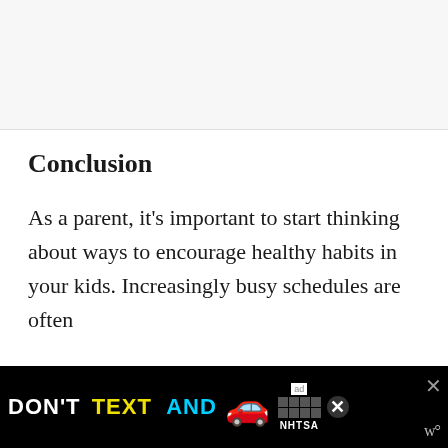[Figure (other): Gray top banner area, likely image placeholder above article content]
Conclusion
As a parent, it’s important to start thinking about ways to encourage healthy habits in your kids. Increasingly busy schedules are often
[Figure (other): Advertisement banner: DON’T TEXT AND [car emoji] NHTSA logo with close button]